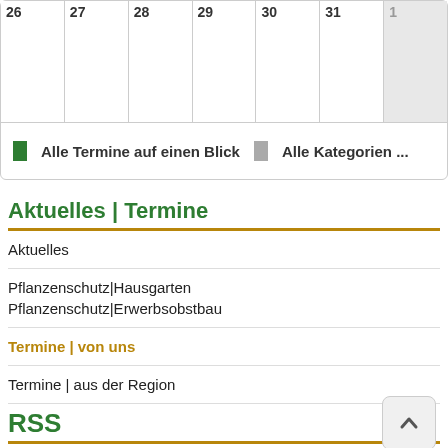| 26 | 27 | 28 | 29 | 30 | 31 | 1 |
| --- | --- | --- | --- | --- | --- | --- |
|  |  |  |  |  |  |  |
Alle Termine auf einen Blick   Alle Kategorien ...
Aktuelles | Termine
Aktuelles
Pflanzenschutz|Hausgarten
Pflanzenschutz|Erwerbsobstbau
Termine | von uns
Termine | aus der Region
RSS
Feed-Einträge